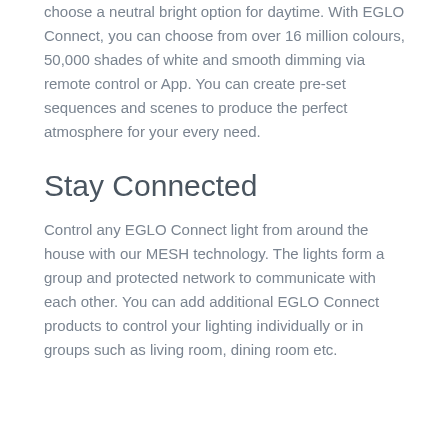choose a neutral bright option for daytime. With EGLO Connect, you can choose from over 16 million colours, 50,000 shades of white and smooth dimming via remote control or App. You can create pre-set sequences and scenes to produce the perfect atmosphere for your every need.
Stay Connected
Control any EGLO Connect light from around the house with our MESH technology. The lights form a group and protected network to communicate with each other. You can add additional EGLO Connect products to control your lighting individually or in groups such as living room, dining room etc.